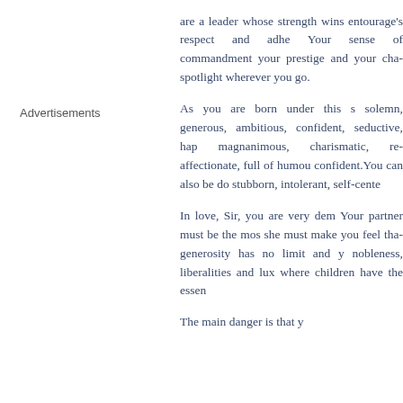are a leader whose strength wins entourage's respect and adherence. Your sense of commandment, your prestige and your charisma spotlight wherever you go.
As you are born under this sign, solemn, generous, ambitious, confident, seductive, happy, magnanimous, charismatic, romantic, affectionate, full of humour, confident.You can also be domineering, stubborn, intolerant, self-centered.
In love, Sir, you are very demanding. Your partner must be the most... she must make you feel that your generosity has no limit and your nobleness, liberalities and luxuries where children have the essential.
The main danger is that...
Advertisements